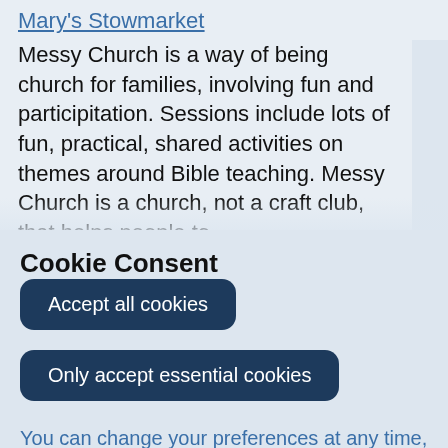Mary's Stowmarket
Messy Church is a way of being church for families, involving fun and participitation. Sessions include lots of fun, practical, shared activities on themes around Bible teaching. Messy Church is a church, not a craft club, that helps people to
Cookie Consent
Accept all cookies
Only accept essential cookies
You can change your preferences at any time, and you can read more about our cookies before you choose.
Leave Website